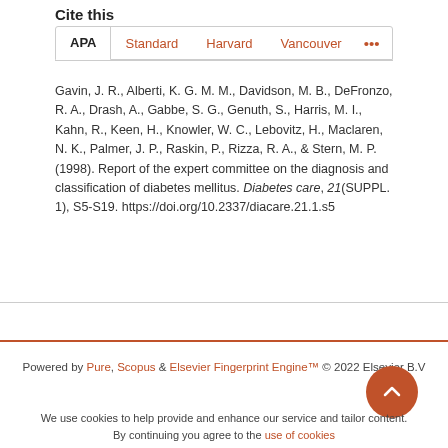Cite this
APA   Standard   Harvard   Vancouver   •••
Gavin, J. R., Alberti, K. G. M. M., Davidson, M. B., DeFronzo, R. A., Drash, A., Gabbe, S. G., Genuth, S., Harris, M. I., Kahn, R., Keen, H., Knowler, W. C., Lebovitz, H., Maclaren, N. K., Palmer, J. P., Raskin, P., Rizza, R. A., & Stern, M. P. (1998). Report of the expert committee on the diagnosis and classification of diabetes mellitus. Diabetes care, 21(SUPPL. 1), S5-S19. https://doi.org/10.2337/diacare.21.1.s5
Powered by Pure, Scopus & Elsevier Fingerprint Engine™ © 2022 Elsevier B.V
We use cookies to help provide and enhance our service and tailor content.
By continuing you agree to the use of cookies